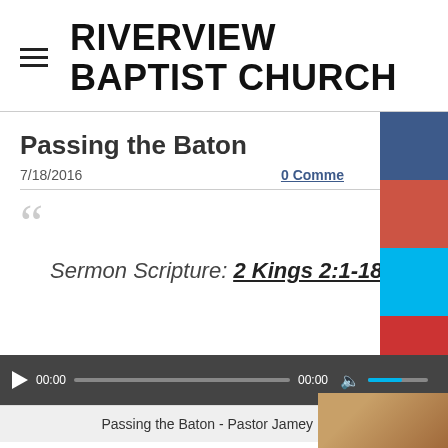RIVERVIEW BAPTIST CHURCH
Passing the Baton
7/18/2016
0 Comments
Sermon Scripture: 2 Kings 2:1-18
[Figure (screenshot): Audio player with play button, time display 00:00 / 00:00, progress bar, volume control, and track title 'Passing the Baton - Pastor Jamey Hunt']
[Figure (photo): Partial image of wooden object visible at bottom right corner]